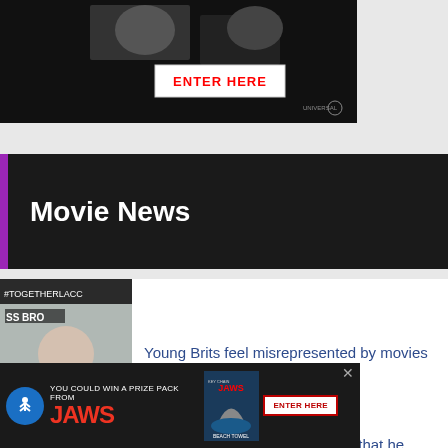[Figure (photo): Dark movie promotional banner with 'ENTER HERE' button on white background, Universal logo]
Movie News
[Figure (photo): Man in black jacket at SS Bros event]
Young Brits feel misrepresented by movies
[Figure (photo): James Gunn with glasses]
James Gunn has a list of actors that he won't work with
[Figure (photo): Mary Elizabeth Winstead in red dress at colorful event]
Mary Elizabeth Winstead and Xochitl Gomez cast in Ursa Major
[Figure (photo): Partial thumbnail at bottom]
Martin Freeman to star in
[Figure (photo): JAWS promotional ad banner: 'YOU COULD WIN A PRIZE PACK FROM JAWS' with Enter Here button]